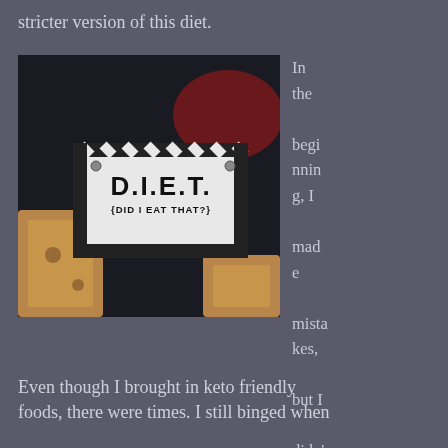stricter version of this diet.
[Figure (photo): A hand holding a black-and-white sign that reads 'D.I.E.T. {DID I EAT THAT?}' with a black and white striped border, photographed against a dark background with wooden blocks visible.]
In the beginning, I made mistakes, but I didn't give up.
Even though I brought in keto friendly foods, there were times. I still binged when